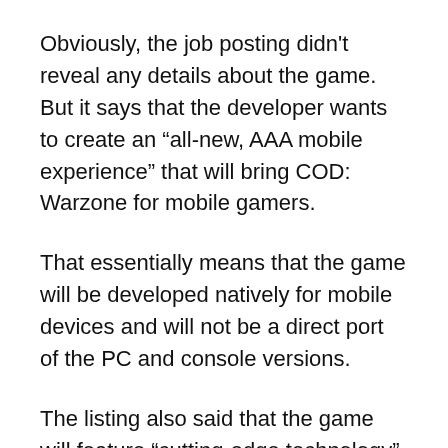Obviously, the job posting didn't reveal any details about the game. But it says that the developer wants to create an “all-new, AAA mobile experience” that will bring COD: Warzone for mobile gamers.
That essentially means that the game will be developed natively for mobile devices and will not be a direct port of the PC and console versions.
The listing also said that the game will feature “cutting-edge technology” that’s meant to entertain gamers for “many years to come.”, which also hints that it may receive constant changes and updates over time, much like the main versions of